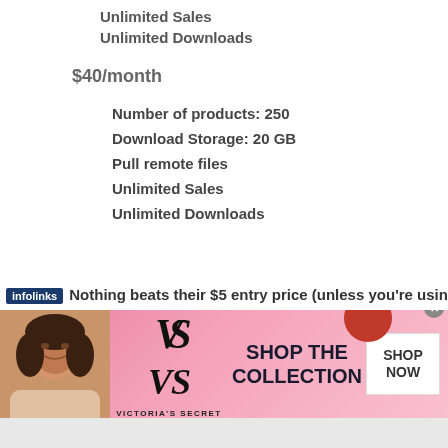Unlimited Sales
Unlimited Downloads
$40/month
Number of products: 250
Download Storage: 20 GB
Pull remote files
Unlimited Sales
Unlimited Downloads
Nothing beats their $5 entry price (unless you're using
[Figure (photo): Victoria's Secret advertisement banner with a woman, VS logo, text SHOP THE COLLECTION, and SHOP NOW button]